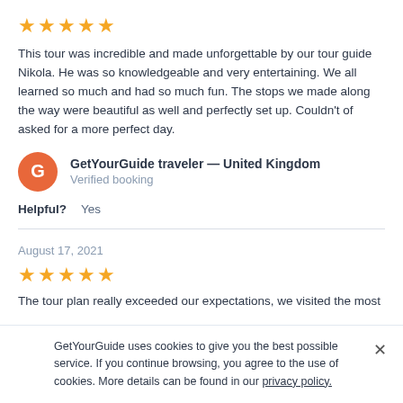[Figure (other): 5 yellow star rating icons]
This tour was incredible and made unforgettable by our tour guide Nikola. He was so knowledgeable and very entertaining. We all learned so much and had so much fun. The stops we made along the way were beautiful as well and perfectly set up. Couldn't of asked for a more perfect day.
GetYourGuide traveler — United Kingdom
Verified booking
Helpful?   Yes
August 17, 2021
[Figure (other): 5 yellow star rating icons]
The tour plan really exceeded our expectations, we visited the most
GetYourGuide uses cookies to give you the best possible service. If you continue browsing, you agree to the use of cookies. More details can be found in our privacy policy.